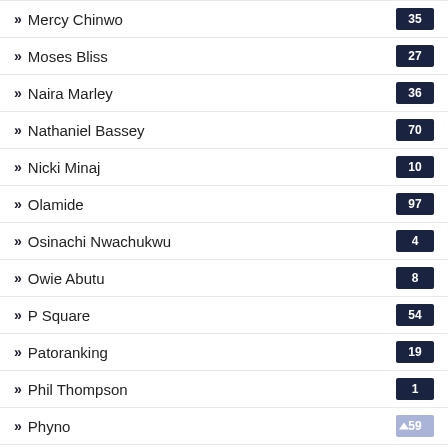Mercy Chinwo
Moses Bliss
Naira Marley
Nathaniel Bassey
Nicki Minaj
Olamide
Osinachi Nwachukwu
Owie Abutu
P Square
Patoranking
Phil Thompson
Phyno
Prospa Ochimana